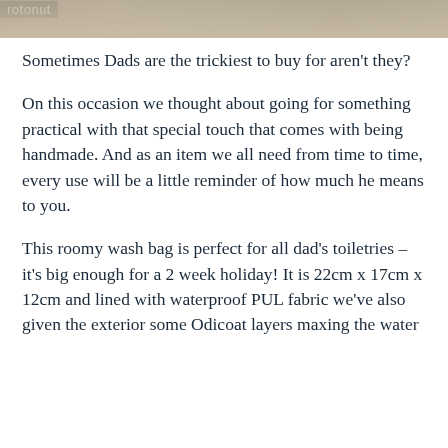[Figure (photo): Partial image strip at top of page showing wooden or light-colored objects, with a watermark label 'rotonut' at the right side]
Sometimes Dads are the trickiest to buy for aren't they?
On this occasion we thought about going for something practical with that special touch that comes with being handmade. And as an item we all need from time to time, every use will be a little reminder of how much he means to you.
This roomy wash bag is perfect for all dad's toiletries – it's big enough for a 2 week holiday! It is 22cm x 17cm x 12cm and lined with waterproof PUL fabric we've also given the exterior some Odicoat layers maxing the water